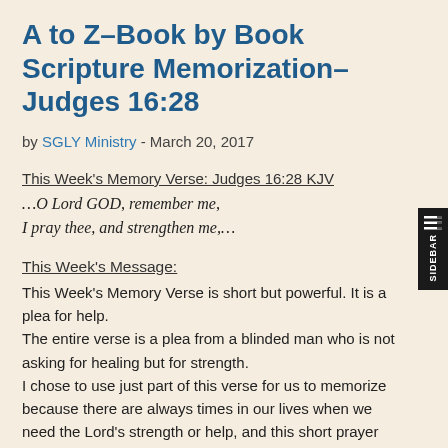A to Z–Book by Book Scripture Memorization–Judges 16:28
by SGLY Ministry - March 20, 2017
This Week's Memory Verse: Judges 16:28 KJV
…O Lord GOD, remember me, I pray thee, and strengthen me,…
This Week's Message:
This Week's Memory Verse is short but powerful. It is a plea for help. The entire verse is a plea from a blinded man who is not asking for healing but for strength. I chose to use just part of this verse for us to memorize because there are always times in our lives when we need the Lord's strength or help, and this short prayer would be